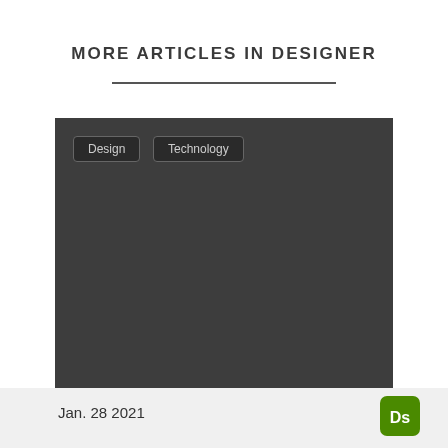MORE ARTICLES IN DESIGNER
[Figure (screenshot): Dark gray rectangular area with two tag buttons labeled 'Design' and 'Technology' in the upper left corner]
Jan. 28 2021
[Figure (logo): Adobe Dimension logo: green rounded square with 'Ds' text in white]